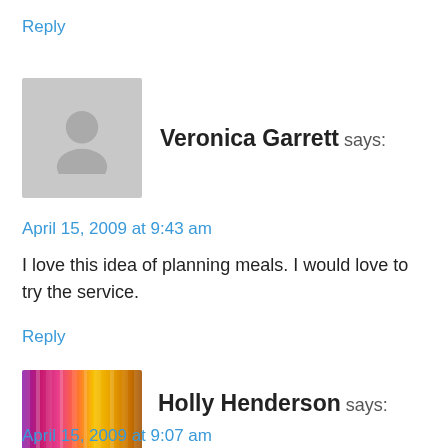Reply
Veronica Garrett says:
April 15, 2009 at 9:43 am
I love this idea of planning meals. I would love to try the service.
Reply
[Figure (photo): Colorful striped avatar image for Holly Henderson]
Holly Henderson says:
April 15, 2009 at 9:07 am
There is a location about a half hour from me too!